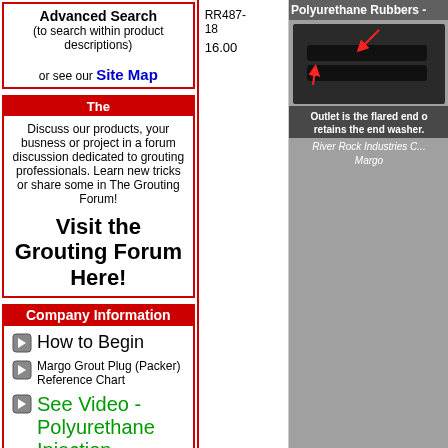Advanced Search (to search within product descriptions) or see our Site Map
The
Discuss our products, your busness or project in a forum discussion dedicated to grouting professionals. Learn new tricks or share some in The Grouting Forum!
Visit the Grouting Forum Here!
Company Information
How to Begin
Margo Grout Plug (Packer) Reference Chart
See Video - Polyurethane Injection
Margo Grout Plug Catalogue
Polyurethane and Epoxy Packers Catalogue
Grout Selection Chart
Grout Equivalence Chart
RR487-18   16.00
[Figure (photo): Photo of Polyurethane Rubbers product with red arrows pointing to parts. Text: Outlet is the flared end o... retains the end washer. River Rock Industries C... Margo]